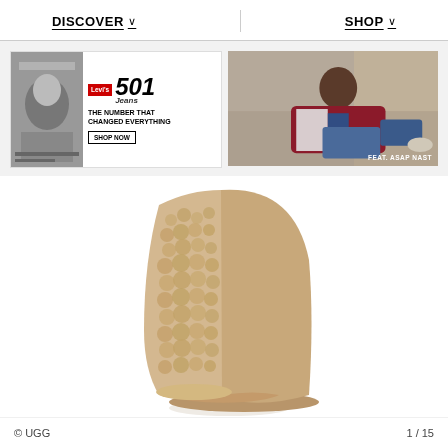DISCOVER  ∨     SHOP  ∨
[Figure (photo): Levi's 501 Jeans advertisement banner with black-and-white photo of person on left and text 'THE NUMBER THAT CHANGED EVERYTHING' with SHOP NOW button]
[Figure (photo): Fashion photo of man (ASAP Nast) lounging in jeans and colorful jacket, labeled 'FEAT. ASAP NAST']
[Figure (photo): UGG sheepskin high-heel ankle boot in tan/camel color, shown in product shot on white background]
© UGG     1 / 15